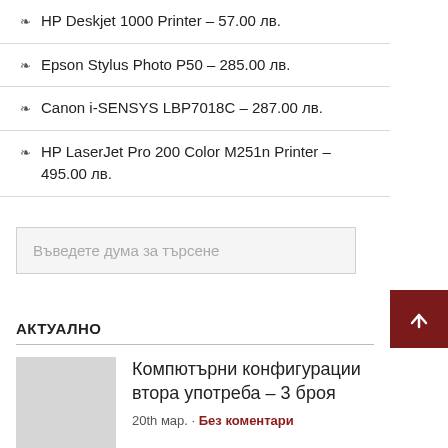HP Deskjet 1000 Printer – 57.00 лв.
Epson Stylus Photo P50 – 285.00 лв.
Canon i-SENSYS LBP7018C – 287.00 лв.
HP LaserJet Pro 200 Color M251n Printer – 495.00 лв.
Въведете дума за търсене
АКТУАЛНО
Компютърни конфигурации втора употреба – 3 броя
20th мар. · Без коментари